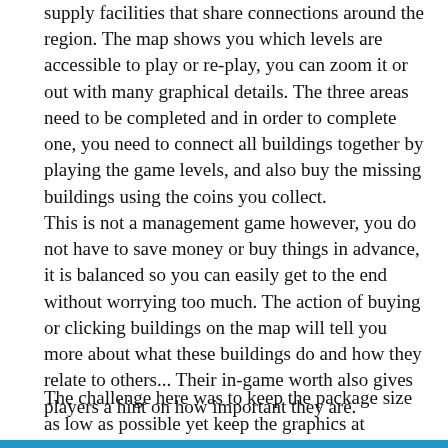supply facilities that share connections around the region. The map shows you which levels are accessible to play or re-play, you can zoom it or out with many graphical details. The three areas need to be completed and in order to complete one, you need to connect all buildings together by playing the game levels, and also buy the missing buildings using the coins you collect.
This is not a management game however, you do not have to save money or buy things in advance, it is balanced so you can easily get to the end without worrying too much. The action of buying or clicking buildings on the map will tell you more about what these buildings do and how they relate to others... Their in-game worth also gives players a hint on how important they are.
The challenge here was to keep the package size as low as possible yet keep the graphics at maximum quality.